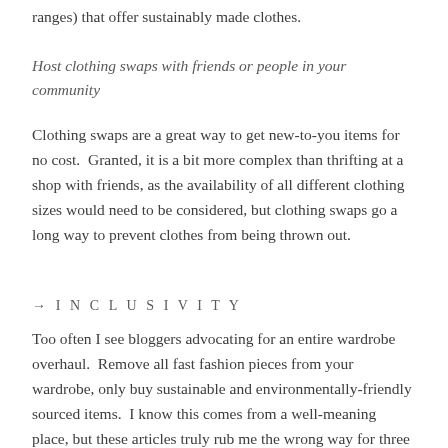ranges) that offer sustainably made clothes.
Host clothing swaps with friends or people in your community
Clothing swaps are a great way to get new-to-you items for no cost.  Granted, it is a bit more complex than thrifting at a shop with friends, as the availability of all different clothing sizes would need to be considered, but clothing swaps go a long way to prevent clothes from being thrown out.
→ I N C L U S I V I T Y
Too often I see bloggers advocating for an entire wardrobe overhaul.  Remove all fast fashion pieces from your wardrobe, only buy sustainable and environmentally-friendly sourced items.  I know this comes from a well-meaning place, but these articles truly rub me the wrong way for three reasons: